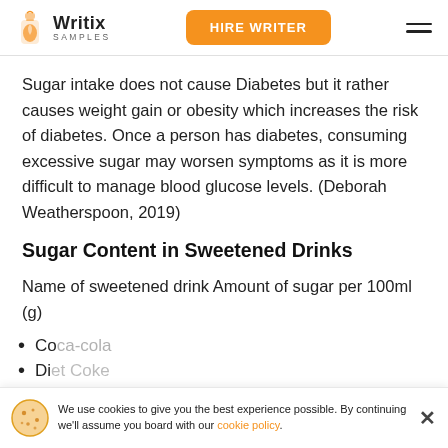Writix Samples | HIRE WRITER
Sugar intake does not cause Diabetes but it rather causes weight gain or obesity which increases the risk of diabetes. Once a person has diabetes, consuming excessive sugar may worsen symptoms as it is more difficult to manage blood glucose levels. (Deborah Weatherspoon, 2019)
Sugar Content in Sweetened Drinks
Name of sweetened drink Amount of sugar per 100ml (g)
Co...
Di...
We use cookies to give you the best experience possible. By continuing we'll assume you board with our cookie policy.